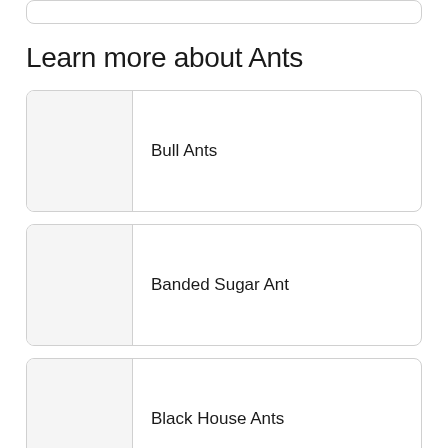Learn more about Ants
Bull Ants
Banded Sugar Ant
Black House Ants